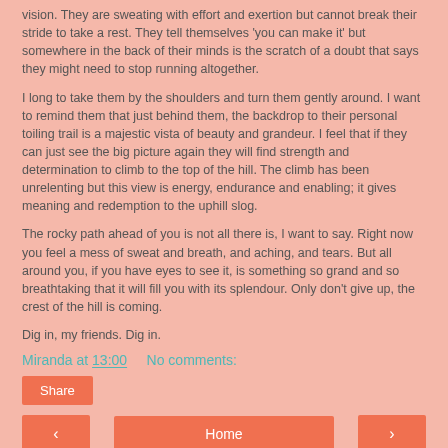vision. They are sweating with effort and exertion but cannot break their stride to take a rest. They tell themselves 'you can make it' but somewhere in the back of their minds is the scratch of a doubt that says they might need to stop running altogether.
I long to take them by the shoulders and turn them gently around. I want to remind them that just behind them, the backdrop to their personal toiling trail is a majestic vista of beauty and grandeur. I feel that if they can just see the big picture again they will find strength and determination to climb to the top of the hill. The climb has been unrelenting but this view is energy, endurance and enabling; it gives meaning and redemption to the uphill slog.
The rocky path ahead of you is not all there is, I want to say. Right now you feel a mess of sweat and breath, and aching, and tears. But all around you, if you have eyes to see it, is something so grand and so breathtaking that it will fill you with its splendour. Only don't give up, the crest of the hill is coming.
Dig in, my friends. Dig in.
Miranda at 13:00    No comments:
Share
‹
Home
›
View web version
About Me